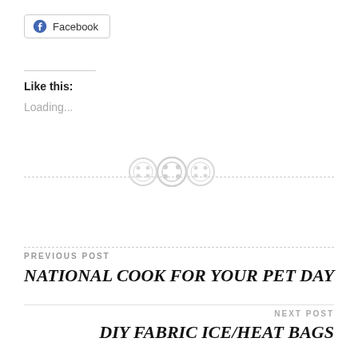[Figure (logo): Facebook share button with Facebook icon]
Like this:
Loading...
[Figure (illustration): Three decorative button/sewing icons as a divider]
PREVIOUS POST
NATIONAL COOK FOR YOUR PET DAY
NEXT POST
DIY FABRIC ICE/HEAT BAGS